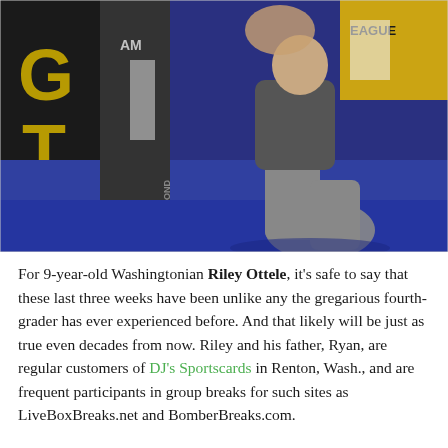[Figure (photo): Two people at what appears to be a sports card convention or event. One person is kneeling on a blue carpet floor, the other is standing. Background shows event signage including 'LEAGUE' in yellow, and a dark banner with gold lettering. The kneeling person appears to be adult male in grey pants, the other in a dark shirt.]
For 9-year-old Washingtonian Riley Ottele, it's safe to say that these last three weeks have been unlike any the gregarious fourth-grader has ever experienced before. And that likely will be just as true even decades from now. Riley and his father, Ryan, are regular customers of DJ's Sportscards in Renton, Wash., and are frequent participants in group breaks for such sites as LiveBoxBreaks.net and BomberBreaks.com.